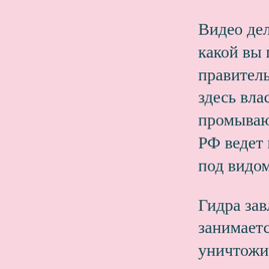Видео делали с какой вы поли правительстве здесь власти? промывают м РФ ведет проп под видом "кл
Гидра завлекае занимается пр уничтожить с возвратился.
А Гидра - имее метод борьбы площадке пиз постому кто